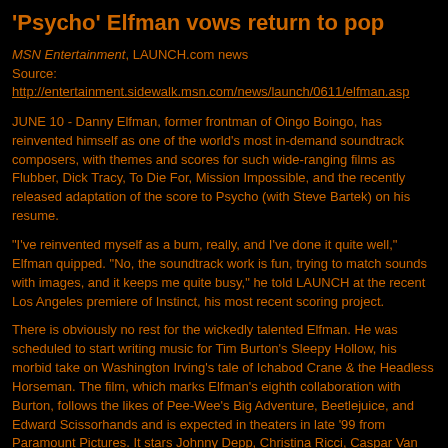'Psycho' Elfman vows return to pop
MSN Entertainment, LAUNCH.com news
Source: http://entertainment.sidewalk.msn.com/news/launch/0611/elfman.asp
JUNE 10 - Danny Elfman, former frontman of Oingo Boingo, has reinvented himself as one of the world's most in-demand soundtrack composers, with themes and scores for such wide-ranging films as Flubber, Dick Tracy, To Die For, Mission Impossible, and the recently released adaptation of the score to Psycho (with Steve Bartek) on his resume.
"I've reinvented myself as a bum, really, and I've done it quite well," Elfman quipped. "No, the soundtrack work is fun, trying to match sounds with images, and it keeps me quite busy," he told LAUNCH at the recent Los Angeles premiere of Instinct, his most recent scoring project.
There is obviously no rest for the wickedly talented Elfman. He was scheduled to start writing music for Tim Burton's Sleepy Hollow, his morbid take on Washington Irving's tale of Ichabod Crane & the Headless Horseman. The film, which marks Elfman's eighth collaboration with Burton, follows the likes of Pee-Wee's Big Adventure, Beetlejuice, and Edward Scissorhands and is expected in theaters in late '99 from Paramount Pictures. It stars Johnny Depp, Christina Ricci, Caspar Van Dien, and Christopher Walken. "I like working with [Burton]," Elfman explained. "Why would I do eight films with him if he bugged the crap out of me or I didn't find his work fascinating? I look forward to any chance for collaboration with Tim. It will be the most fun I have in the course of this year."
This week's new CDs Elfman admits to missing his pop side, which is responsible for such '80s party tunes as "Weird Science" and "Dead Man's